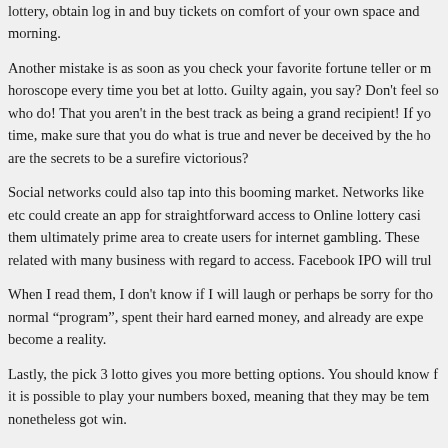lottery, obtain log in and buy tickets on comfort of your own space and morning.
Another mistake is as soon as you check your favorite fortune teller or m horoscope every time you bet at lotto. Guilty again, you say? Don't feel so who do! That you aren't in the best track as being a grand recipient! If yo time, make sure that you do what is true and never be deceived by the ho are the secrets to be a surefire victorious?
Social networks could also tap into this booming market. Networks like etc could create an app for straightforward access to Online lottery casi them ultimately prime area to create users for internet gambling. These related with many business with regard to access. Facebook IPO will trul
When I read them, I don't know if I will laugh or perhaps be sorry for tho normal "program", spent their hard earned money, and already are expe become a reality.
Lastly, the pick 3 lotto gives you more betting options. You should know it is possible to play your numbers boxed, meaning that they may be tem nonetheless got win.